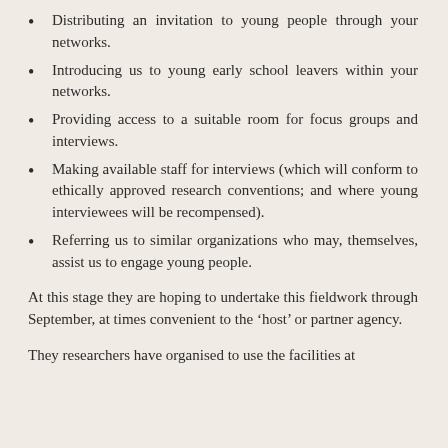Distributing an invitation to young people through your networks.
Introducing us to young early school leavers within your networks.
Providing access to a suitable room for focus groups and interviews.
Making available staff for interviews (which will conform to ethically approved research conventions; and where young interviewees will be recompensed).
Referring us to similar organizations who may, themselves, assist us to engage young people.
At this stage they are hoping to undertake this fieldwork through September, at times convenient to the ‘host’ or partner agency.
They researchers have organised to use the facilities at